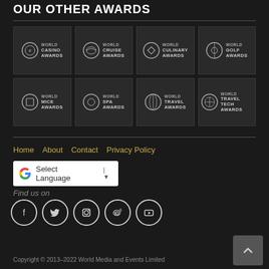OUR OTHER AWARDS
[Figure (logo): Grid of 8 award brand logos: World Casino Awards, World Cruise Awards, World Culinary Awards, World Golf Awards, World MICE Awards, World Spa Awards, World Travel Awards, World Travel Tech Awards]
Home  About  Contact  Privacy Policy
[Figure (other): Google Translate language selector widget showing 'Select Language' with dropdown arrow]
Find us on
[Figure (other): Social media icons: Facebook, Twitter, Instagram, Weibo, YouTube]
Copyright © 2013–2022 World Media and Events Limited